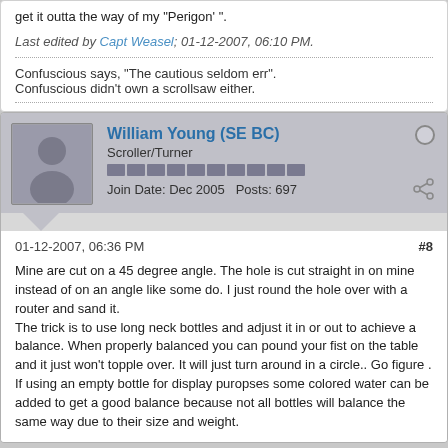get it outta the way of my "Perigon' ".
Last edited by Capt Weasel; 01-12-2007, 06:10 PM.
Confuscious says, "The cautious seldom err".
Confuscious didn't own a scrollsaw either.
William Young (SE BC)
Scroller/Turner
Join Date: Dec 2005   Posts: 697
01-12-2007, 06:36 PM
#8
Mine are cut on a 45 degree angle. The hole is cut straight in on mine instead of on an angle like some do. I just round the hole over with a router and sand it.
The trick is to use long neck bottles and adjust it in or out to achieve a balance. When properly balanced you can pound your fist on the table and it just won't topple over. It will just turn around in a circle.. Go figure .
If using an empty bottle for display puropses some colored water can be added to get a good balance because not all bottles will balance the same way due to their size and weight.